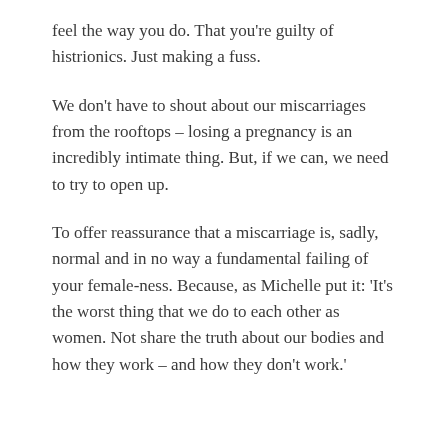feel the way you do. That you're guilty of histrionics. Just making a fuss.
We don't have to shout about our miscarriages from the rooftops – losing a pregnancy is an incredibly intimate thing. But, if we can, we need to try to open up.
To offer reassurance that a miscarriage is, sadly, normal and in no way a fundamental failing of your female-ness. Because, as Michelle put it: 'It's the worst thing that we do to each other as women. Not share the truth about our bodies and how they work – and how they don't work.'